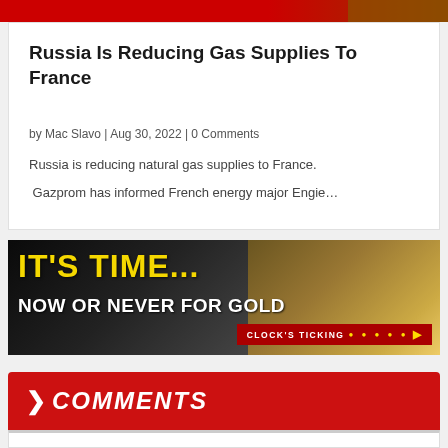[Figure (photo): Red banner at top of page with image on right side]
Russia Is Reducing Gas Supplies To France
by Mac Slavo | Aug 30, 2022 | 0 Comments
Russia is reducing natural gas supplies to France.
Gazprom has informed French energy major Engie…
[Figure (photo): Advertisement banner: IT'S TIME... NOW OR NEVER FOR GOLD. CLOCK'S TICKING]
> COMMENTS